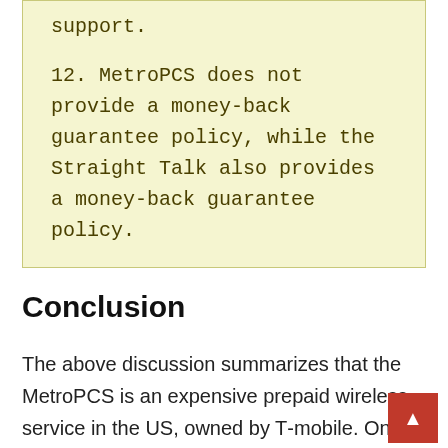support.

12. MetroPCS does not provide a money-back guarantee policy, while the Straight Talk also provides a money-back guarantee policy.
Conclusion
The above discussion summarizes that the MetroPCS is an expensive prepaid wireless service in the US, owned by T-mobile. On the other side, the Straight Talk is a cheaper and wider...